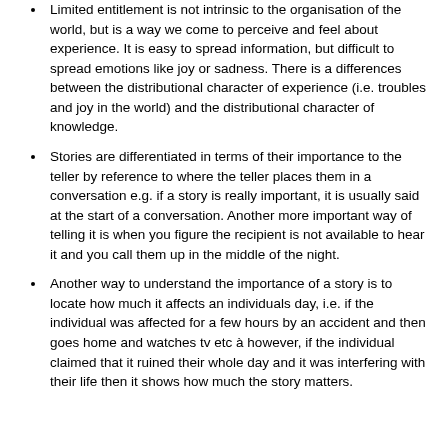Limited entitlement is not intrinsic to the organisation of the world, but is a way we come to perceive and feel about experience. It is easy to spread information, but difficult to spread emotions like joy or sadness. There is a differences between the distributional character of experience (i.e. troubles and joy in the world) and the distributional character of knowledge.
Stories are differentiated in terms of their importance to the teller by reference to where the teller places them in a conversation e.g. if a story is really important, it is usually said at the start of a conversation. Another more important way of telling it is when you figure the recipient is not available to hear it and you call them up in the middle of the night.
Another way to understand the importance of a story is to locate how much it affects an individuals day, i.e. if the individual was affected for a few hours by an accident and then goes home and watches tv etc à however, if the individual claimed that it ruined their whole day and it was interfering with their life then it shows how much the story matters.